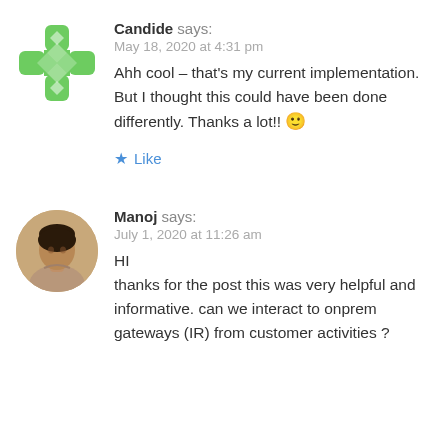[Figure (illustration): Green cross/compass-rose icon avatar for user Candide]
Candide says:
May 18, 2020 at 4:31 pm
Ahh cool – that's my current implementation. But I thought this could have been done differently. Thanks a lot!! 🙂
★ Like
[Figure (photo): Circular profile photo of Manoj, a young man in a beige shirt]
Manoj says:
July 1, 2020 at 11:26 am
HI
thanks for the post this was very helpful and informative. can we interact to onprem gateways (IR) from customer activities ?